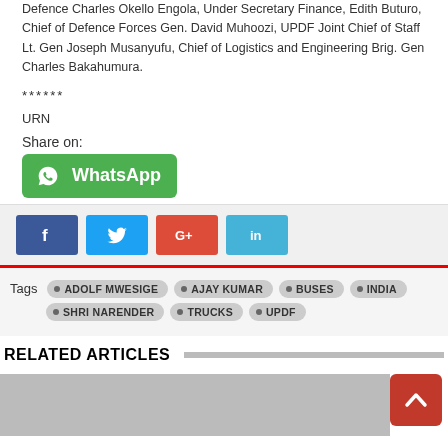Defence Charles Okello Engola, Under Secretary Finance, Edith Buturo, Chief of Defence Forces Gen. David Muhoozi, UPDF Joint Chief of Staff Lt. Gen Joseph Musanyufu, Chief of Logistics and Engineering Brig. Gen Charles Bakahumura.
******
URN
Share on:
[Figure (other): WhatsApp share button (green rounded rectangle with WhatsApp logo and text)]
[Figure (other): Social share buttons: Facebook (blue f), Twitter (blue bird), Google+ (red G+), LinkedIn (blue in)]
Tags: ADOLF MWESIGE  AJAY KUMAR  BUSES  INDIA  SHRI NARENDER  TRUCKS  UPDF
RELATED ARTICLES
[Figure (photo): Related article image placeholder showing a person]